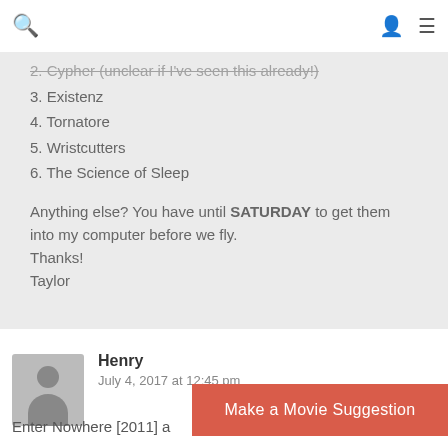🔍  👤  ☰
2. Cypher (unclear if I've seen this already!) [strikethrough]
3. Existenz
4. Tornatore
5. Wristcutters
6. The Science of Sleep
Anything else? You have until SATURDAY to get them into my computer before we fly.
Thanks!
Taylor
Henry
July 4, 2017 at 12:45 pm
Enter Nowhere [2011] a
Make a Movie Suggestion